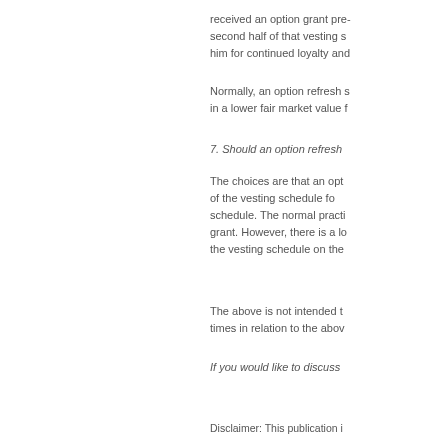received an option grant pre- second half of that vesting s him for continued loyalty and
Normally, an option refresh s in a lower fair market value f
7. Should an option refresh
The choices are that an opt of the vesting schedule fo schedule. The normal practi grant. However, there is a lo the vesting schedule on the
The above is not intended t times in relation to the abov
If you would like to discuss
Disclaimer: This publication i